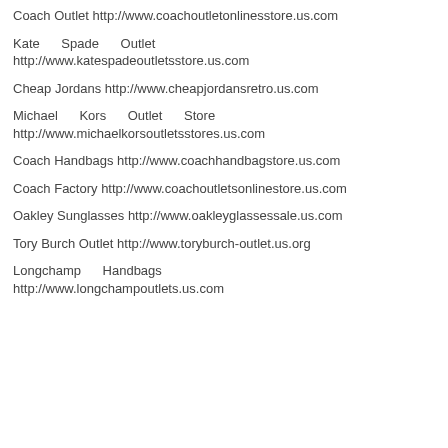Coach Outlet http://www.coachoutletonlinesstore.us.com
Kate Spade Outlet http://www.katespadeoutletsstore.us.com
Cheap Jordans http://www.cheapjordansretro.us.com
Michael Kors Outlet Store http://www.michaelkorsoutletsstores.us.com
Coach Handbags http://www.coachhandbagstore.us.com
Coach Factory http://www.coachoutletsonlinestore.us.com
Oakley Sunglasses http://www.oakleyglassessale.us.com
Tory Burch Outlet http://www.toryburch-outlet.us.org
Longchamp Handbags http://www.longchampoutlets.us.com